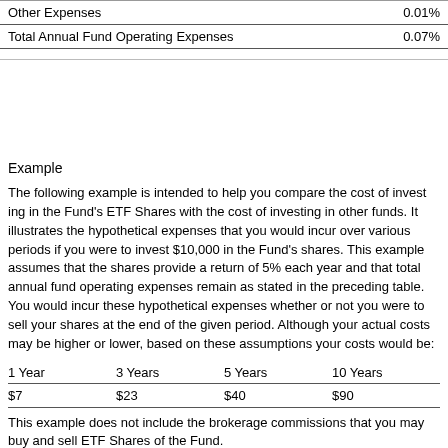|  |  |
| --- | --- |
| Other Expenses | 0.01% |
| Total Annual Fund Operating Expenses | 0.07% |
Example
The following example is intended to help you compare the cost of investing in the Fund's ETF Shares with the cost of investing in other funds. It illustrates the hypothetical expenses that you would incur over various periods if you were to invest $10,000 in the Fund's shares. This example assumes that the shares provide a return of 5% each year and that total annual fund operating expenses remain as stated in the preceding table. You would incur these hypothetical expenses whether or not you were to sell your shares at the end of the given period. Although your actual costs may be higher or lower, based on these assumptions your costs would be:
| 1 Year | 3 Years | 5 Years | 10 Years |
| --- | --- | --- | --- |
| $7 | $23 | $40 | $90 |
This example does not include the brokerage commissions that you may pay to buy and sell ETF Shares of the Fund.